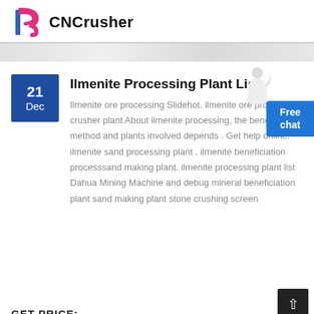CNCrusher
[Figure (logo): CNCrusher logo with stylized F in blue and pink]
Ilmenite Processing Plant List
21 Dec
Ilmenite ore processing Slidehot. ilmenite ore process crusher plant About ilmenite processing, the beneficiation method and plants involved depends . Get help online. ilmenite sand processing plant . ilmenite beneficiation processsand making plant. ilmenite processing plant list Dahua Mining Machine and debug mineral beneficiation plant sand making plant stone crushing screen
GET PRICE